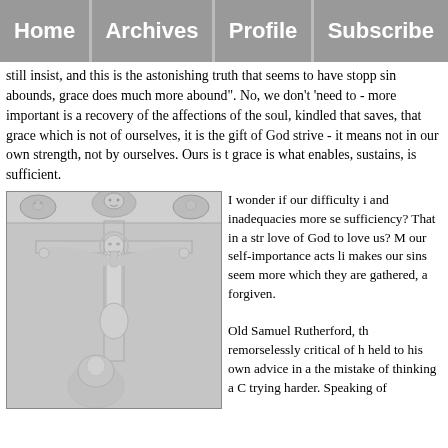Home | Archives | Profile | Subscribe
still insist, and this is the astonishing truth that seems to have stopp... sin abounds, grace does much more abound". No, we don't 'need to... - more important is a recovery of the affections of the soul, kindled... that saves, that grace which is not of ourselves, it is the gift of God... strive - it means not in our own strength, not by ourselves. Ours is t... grace is what enables, sustains, is sufficient.
[Figure (photo): Black and white photo of a stone relief sculpture of the crucifixion, showing Christ on the cross with a figure below, ornate decorative elements at the top.]
I wonder if our difficulty i... and inadequacies more se... sufficiency? That in a str... love of God to love us? M... our self-importance acts li... makes our sins seem more... which they are gathered, a... forgiven.

Old Samuel Rutherford, th... remorselessly critical of h... held to his own advice in a... the mistake of thinking a C... trying harder. Speaking of...